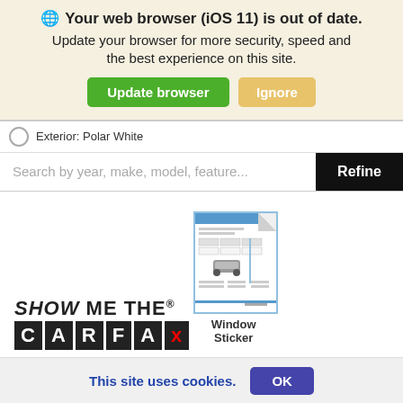🌐 Your web browser (iOS 11) is out of date. Update your browser for more security, speed and the best experience on this site.
Update browser | Ignore
Exterior: Polar White
Search by year, make, model, feature...
Refine
[Figure (logo): Show Me The CARFAX logo]
[Figure (screenshot): Window Sticker thumbnail document image]
Window Sticker
⊙Details
This site uses cookies.
OK